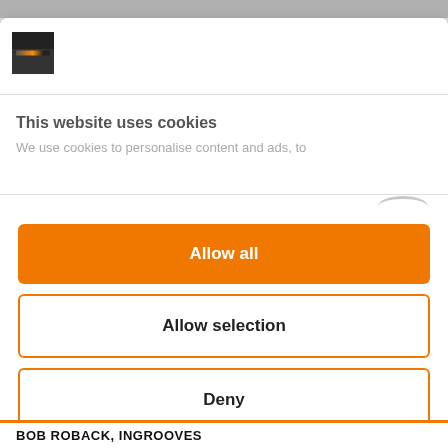[Figure (screenshot): Cookie consent modal overlay on a website. Shows a logo, cookie notice title and text, three buttons (Allow all, Allow selection, Deny), and a Cookiebot by Usercentrics attribution.]
This website uses cookies
We use cookies to personalise content and ads, to
Allow all
Allow selection
Deny
Powered by Cookiebot by Usercentrics
BOB ROBACK, INGROOVES